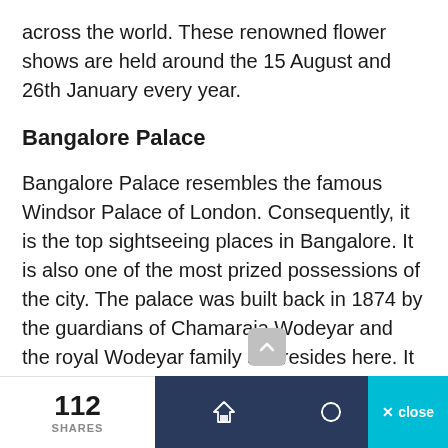across the world. These renowned flower shows are held around the 15 August and 26th January every year.
Bangalore Palace
Bangalore Palace resembles the famous Windsor Palace of London. Consequently, it is the top sightseeing places in Bangalore. It is also one of the most prized possessions of the city. The palace was built back in 1874 by the guardians of Chamaraja Wodeyar and the royal Wodeyar family still resides here. It is spread in an area of 45,000 square feet and features beautiful Tudor architecture. The palace has 35 fully furnished royal rooms with incomparable
112 SHARES